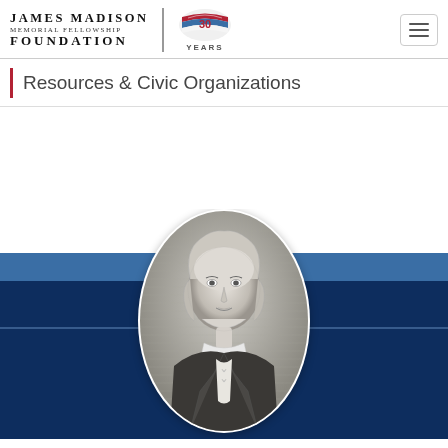James Madison Memorial Fellowship Foundation — 30 Years
Resources & Civic Organizations
[Figure (illustration): Circular black-and-white engraved portrait of James Madison against a dark navy blue background with a blue band, representing the James Madison Memorial Fellowship Foundation website.]